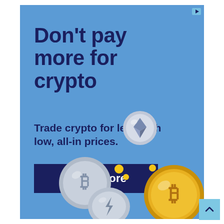Don't pay more for crypto
Trade crypto for less with low, all-in prices.
Learn more
[Figure (illustration): Several cryptocurrency coins (Bitcoin, Ethereum, Lightning) illustrated in 3D style floating/falling, on a blue background]